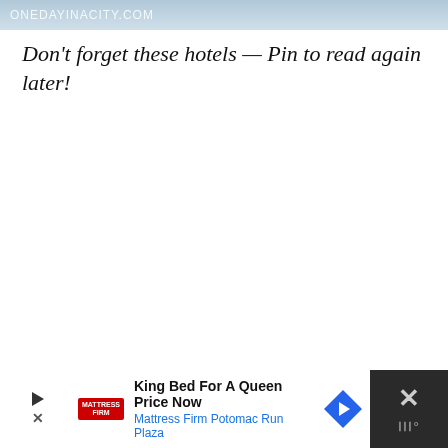ONEDAYINACITY.COM
Don't forget these hotels — Pin to read again later!
[Figure (logo): Watermark logo with stylized W and degree symbol]
[Figure (screenshot): Advertisement bar at bottom: Mattress Firm ad for King Bed For A Queen Price Now, Mattress Firm Potomac Run Plaza, with navigation icon and close button]